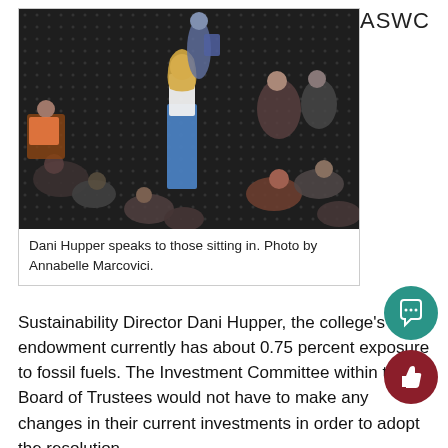ASWC
[Figure (photo): Aerial view of students sitting in a circle on a patterned carpet floor. A person with long blonde hair wearing a white t-shirt and blue jeans stands in the center speaking to the group.]
Dani Hupper speaks to those sitting in. Photo by Annabelle Marcovici.
Sustainability Director Dani Hupper, the college's endowment currently has about 0.75 percent exposure to fossil fuels. The Investment Committee within the Board of Trustees would not have to make any changes in their current investments in order to adopt the resolution.
“We’re at a key moment in time when energy stocks have actually done poorly, so just for financial reasons